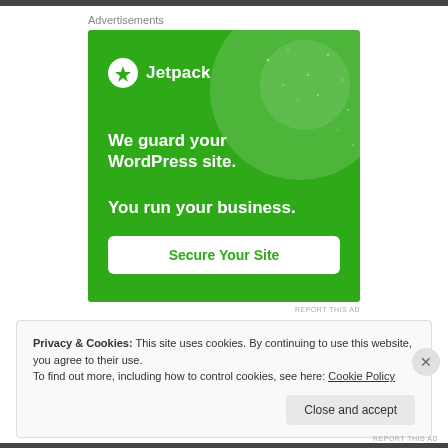Advertisements
[Figure (illustration): Jetpack advertisement banner on green background with logo, text 'We guard your WordPress site. You run your business.' and a 'Secure Your Site' button]
REPORT THIS AD
Privacy & Cookies: This site uses cookies. By continuing to use this website, you agree to their use. To find out more, including how to control cookies, see here: Cookie Policy
Close and accept